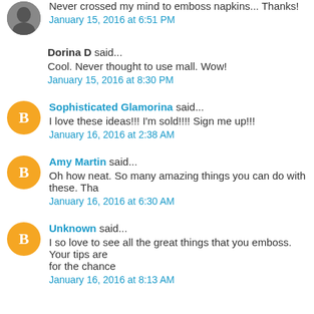Never crossed my mind to emboss napkins... Thanks!
January 15, 2016 at 6:51 PM
Dorina D said...
Cool. Never thought to use mall. Wow!
January 15, 2016 at 8:30 PM
Sophisticated Glamorina said...
I love these ideas!!! I'm sold!!!! Sign me up!!!
January 16, 2016 at 2:38 AM
Amy Martin said...
Oh how neat. So many amazing things you can do with these. Tha
January 16, 2016 at 6:30 AM
Unknown said...
I so love to see all the great things that you emboss. Your tips are for the chance
January 16, 2016 at 8:13 AM